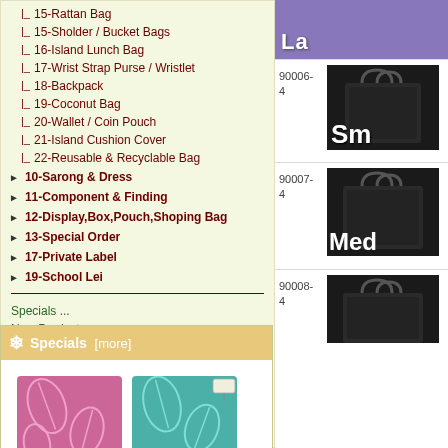|_ 15-Rattan Bag
|_ 15-Sholder / Bucket Bags
|_ 16-Island Lunch Bag
|_ 17-Wrist Strap Purse / Wristlet
|_ 18-Backpack
|_ 19-Coconut Bag
|_ 20-Wallet / Coin Pouch
|_ 21-Island Cushion Cover
|_ 22-Reusable & Recyclable Bag
▶ 10-Sarong & Dress
▶ 11-Component & Finding
▶ 12-Display,Box,Pouch,Shoping Bag
▶ 13-Special Order
▶ 17-Private Label
▶ 19-School Lei
Specials ...
New Products ...
Featured Products ...
Specials [more]
[Figure (photo): Two fabric swatches (pink and teal) with leaf patterns]
90006-4
[Figure (photo): Small black bag product image with label 'Sm']
90007-4
[Figure (photo): Medium black bag product image with label 'Med']
90008-4
[Figure (photo): Black bag product image (bottom, partially visible)]